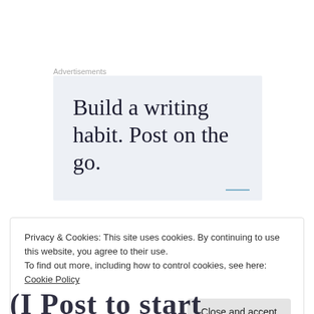Advertisements
[Figure (illustration): Advertisement box with light blue-gray background containing large serif text reading 'Build a writing habit. Post on the go.' with a small blue underline element in the bottom right corner.]
Privacy & Cookies: This site uses cookies. By continuing to use this website, you agree to their use.
To find out more, including how to control cookies, see here: Cookie Policy
Close and accept
(I Post to start